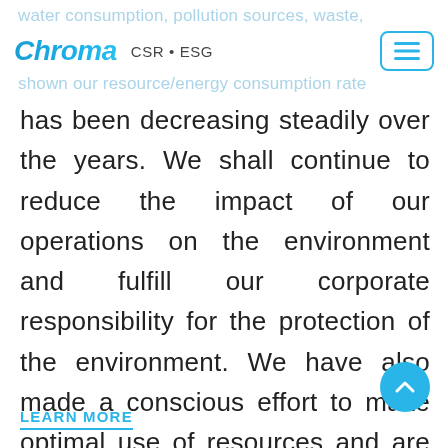water consumption, pollution sources, waste,
Chroma CSR • ESG
shown our resource/energy consumption rate
has been decreasing steadily over the years. We shall continue to reduce the impact of our operations on the environment and fulfill our corporate responsibility for the protection of the environment. We have also made a conscious effort to make optimal use of resources and are working with our customers to become a green enterprise that makes a meaningful contribution to the Earth.
LEARN MORE